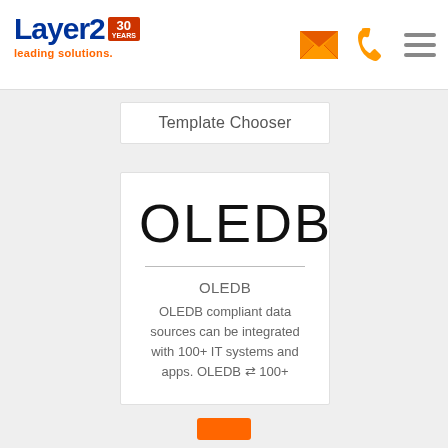[Figure (logo): Layer2 logo with '30 YEARS' badge, blue and orange text, 'leading solutions.' subtitle in orange]
[Figure (infographic): Orange envelope icon, orange phone icon, and orange hamburger menu icon in header navigation]
Template Chooser
OLEDB
OLEDB
OLEDB compliant data sources can be integrated with 100+ IT systems and apps. OLEDB ⇌ 100+